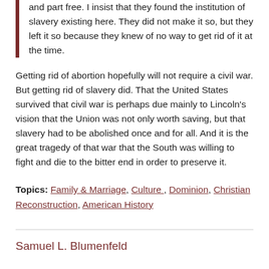and part free. I insist that they found the institution of slavery existing here. They did not make it so, but they left it so because they knew of no way to get rid of it at the time.
Getting rid of abortion hopefully will not require a civil war. But getting rid of slavery did. That the United States survived that civil war is perhaps due mainly to Lincoln's vision that the Union was not only worth saving, but that slavery had to be abolished once and for all. And it is the great tragedy of that war that the South was willing to fight and die to the bitter end in order to preserve it.
Topics: Family & Marriage, Culture , Dominion, Christian Reconstruction, American History
Samuel L. Blumenfeld